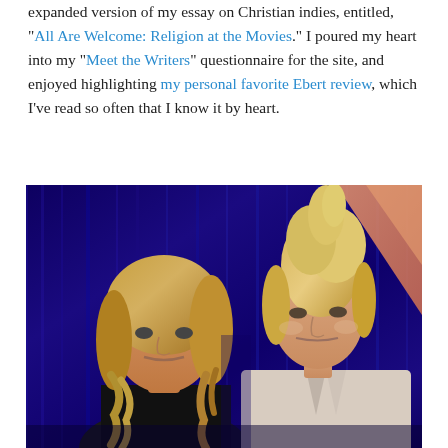expanded version of my essay on Christian indies, entitled, "All Are Welcome: Religion at the Movies." I poured my heart into my "Meet the Writers" questionnaire for the site, and enjoyed highlighting my personal favorite Ebert review, which I've read so often that I know it by heart.
[Figure (photo): Two women standing together at what appears to be an awards ceremony or formal event with blue curtain backdrop. The woman on the left has wavy blonde hair and is wearing dark clothing. The woman on the right is taller with an upswept blonde hairstyle and is wearing a light-colored blazer.]